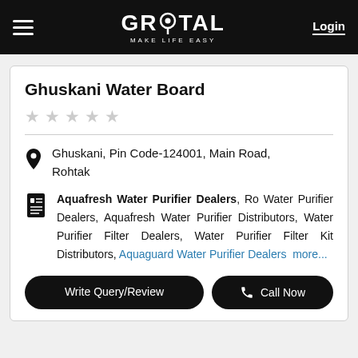GROTAL MAKE LIFE EASY — Login
Ghuskani Water Board
★★★★★ (empty stars)
Ghuskani, Pin Code-124001, Main Road, Rohtak
Aquafresh Water Purifier Dealers, Ro Water Purifier Dealers, Aquafresh Water Purifier Distributors, Water Purifier Filter Dealers, Water Purifier Filter Kit Distributors, Aquaguard Water Purifier Dealers more...